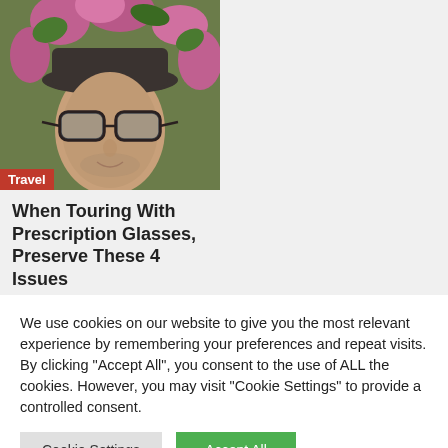[Figure (photo): Man wearing black hat and glasses, smiling, with pink flowers in background. Red 'Travel' badge in lower left corner of photo.]
When Touring With Prescription Glasses, Preserve These 4 Issues
We use cookies on our website to give you the most relevant experience by remembering your preferences and repeat visits. By clicking "Accept All", you consent to the use of ALL the cookies. However, you may visit "Cookie Settings" to provide a controlled consent.